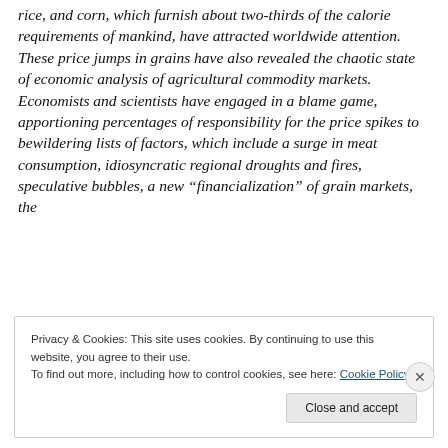in the last half-decade, sharp jumps in the prices of wheat, rice, and corn, which furnish about two-thirds of the calorie requirements of mankind, have attracted worldwide attention. These price jumps in grains have also revealed the chaotic state of economic analysis of agricultural commodity markets. Economists and scientists have engaged in a blame game, apportioning percentages of responsibility for the price spikes to bewildering lists of factors, which include a surge in meat consumption, idiosyncratic regional droughts and fires, speculative bubbles, a new “financialization” of grain markets, the
Privacy & Cookies: This site uses cookies. By continuing to use this website, you agree to their use.
To find out more, including how to control cookies, see here: Cookie Policy